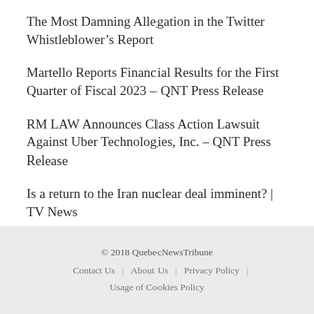The Most Damning Allegation in the Twitter Whistleblower’s Report
Martello Reports Financial Results for the First Quarter of Fiscal 2023 – QNT Press Release
RM LAW Announces Class Action Lawsuit Against Uber Technologies, Inc. – QNT Press Release
Is a return to the Iran nuclear deal imminent? | TV News
The Hundred, 2022 Match 24 LNS vs WEF Match Prediction Who Will Win Today Match
© 2018 QuebecNewsTribune
Contact Us | About Us | Privacy Policy | Usage of Cookies Policy